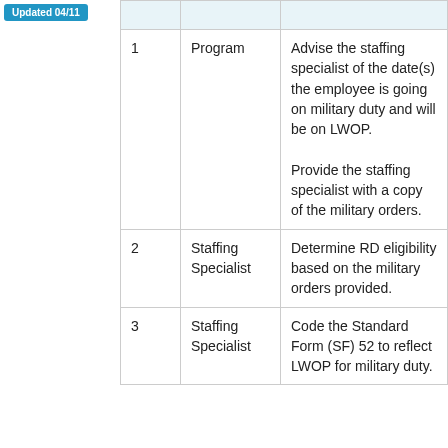Updated 04/11
|  |  |  |
| --- | --- | --- |
| 1 | Program | Advise the staffing specialist of the date(s) the employee is going on military duty and will be on LWOP.

Provide the staffing specialist with a copy of the military orders. |
| 2 | Staffing Specialist | Determine RD eligibility based on the military orders provided. |
| 3 | Staffing Specialist | Code the Standard Form (SF) 52 to reflect LWOP for military duty. |